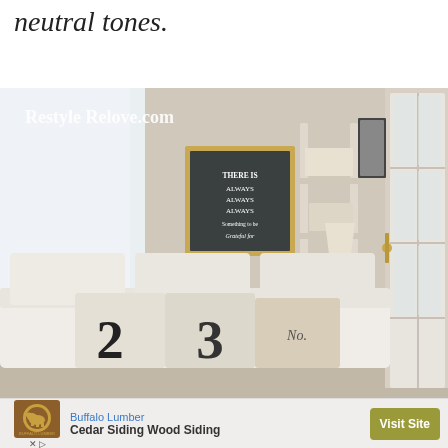neutral tones.
[Figure (photo): Interior living room photo from Restyle Relove.com showing a white sofa with numbered burlap pillows (2, 3), a chalkboard sign reading 'There is always always always something to be grateful for', a vintage ladder shelf with storage boxes, a lamp with a shade, a small table with flowers, and a French door on the right. Watermark reads 'Restyle Relove.com'.]
[Figure (screenshot): Advertisement banner for Buffalo Lumber featuring Cedar Siding Wood Siding with a Visit Site button and a circular logo with a buffalo image.]